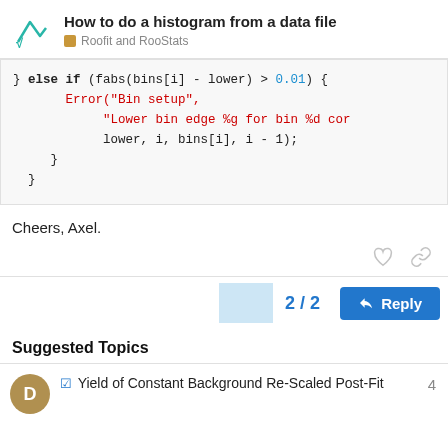How to do a histogram from a data file | Roofit and RooStats
} else if (fabs(bins[i] - lower) > 0.01) {
    Error("Bin setup",
        "Lower bin edge %g for bin %d cor
    lower, i, bins[i], i - 1);
}
}
Cheers, Axel.
2 / 2
Reply
Suggested Topics
☑ Yield of Constant Background Re-Scaled Post-Fit
4